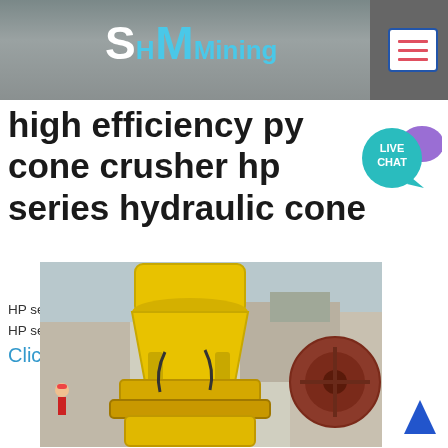SH MMining
high efficiency py cone crusher hp series hydraulic cone
[Figure (illustration): Live Chat speech bubble icon in teal/cyan color with 'LIVE CHAT' text and a chat bubble with mouse cursor icon]
HP series multicylinder hydraulic cone crusher Field scope HP series multi cylinder hydraulic
Click to chat
[Figure (photo): Yellow HP series hydraulic cone crusher machine photographed outdoors in an industrial yard, with heavy machinery and a large red mechanical wheel/drum visible in background]